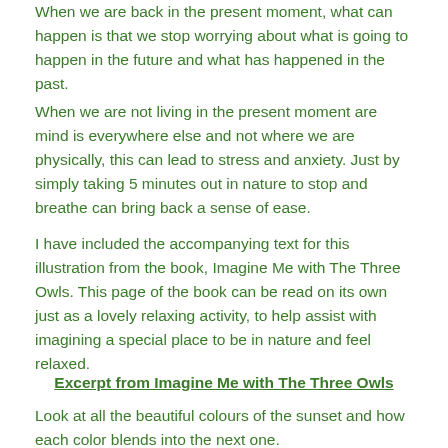When we are back in the present moment, what can happen is that we stop worrying about what is going to happen in the future and what has happened in the past.
When we are not living in the present moment are mind is everywhere else and not where we are physically, this can lead to stress and anxiety. Just by simply taking 5 minutes out in nature to stop and breathe can bring back a sense of ease.
I have included the accompanying text for this illustration from the book, Imagine Me with The Three Owls. This page of the book can be read on its own just as a lovely relaxing activity, to help assist with imagining a special place to be in nature and feel relaxed.
Excerpt from Imagine Me with The Three Owls
Look at all the beautiful colours of the sunset and how each color blends into the next one.
There are many different shades of red, orange, yellow, green, blue, purple and gold.
Imagine the colors are flowing into your heart.